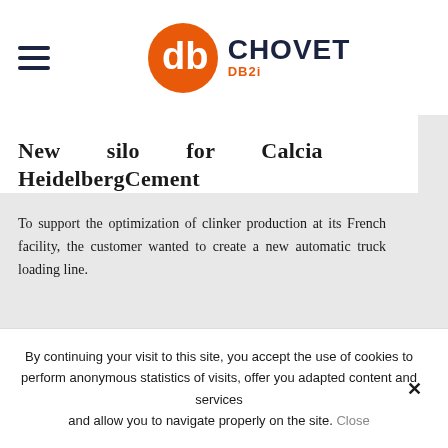CHOVET DB2i
New silo for Calcia HeidelbergCement
To support the optimization of clinker production at its French facility, the customer wanted to create a new automatic truck loading line.
By continuing your visit to this site, you accept the use of cookies to perform anonymous statistics of visits, offer you adapted content and services and allow you to navigate properly on the site. Close